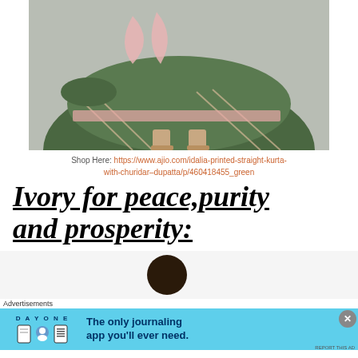[Figure (photo): Fashion photo showing lower half of a woman wearing a green printed churidar kurta with pink dupatta and ruffled hem detailing, wearing beige block heel sandals, photographed against a grey background.]
Shop Here: https://www.ajio.com/idalia-printed-straight-kurta-with-churidar–dupatta/p/460418455_green
Ivory for peace,purity and prosperity:
[Figure (photo): Partial photo of a woman with dark hair pulled back.]
Advertisements
[Figure (illustration): Day One journaling app advertisement banner with cyan background showing app icons and text: 'The only journaling app you'll ever need.']